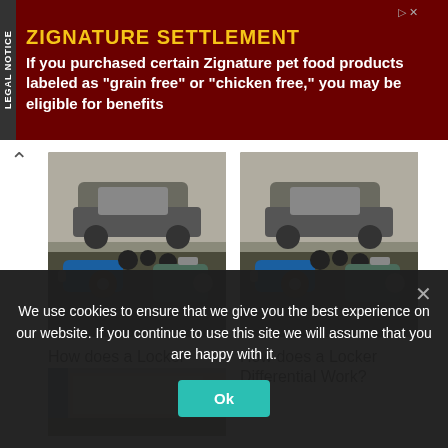[Figure (screenshot): Legal notice advertisement banner for Zignature Settlement in dark red background with yellow title and white text]
[Figure (photo): Photo of locker differential parts with off-road jeep in background]
How does a Locker Differential Work?
[Figure (photo): Photo of locker differential parts with off-road jeep in background (duplicate)]
How does a Locker Differential Work?
[Figure (photo): Partial photo at bottom left showing a building or garage structure]
We use cookies to ensure that we give you the best experience on our website. If you continue to use this site we will assume that you are happy with it.